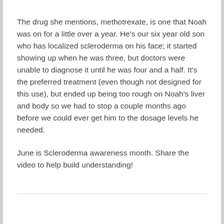The drug she mentions, methotrexate, is one that Noah was on for a little over a year. He's our six year old son who has localized scleroderma on his face; it started showing up when he was three, but doctors were unable to diagnose it until he was four and a half. It's the preferred treatment (even though not designed for this use), but ended up being too rough on Noah's liver and body so we had to stop a couple months ago before we could ever get him to the dosage levels he needed.
June is Scleroderma awareness month. Share the video to help build understanding!